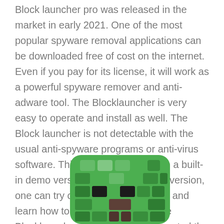Block launcher pro was released in the market in early 2021. One of the most popular spyware removal applications can be downloaded free of cost on the internet. Even if you pay for its license, it will work as a powerful spyware remover and anti-adware tool. The Blocklauncher is very easy to operate and install as well. The Block launcher is not detectable with the usual anti-spyware programs or anti-virus software. This software comes with a built-in demo version. During this demo version, one can try out the Block Launcher and learn how to use it without risk. The Blocklauncher allows the user to control the advertisements on the internet and get rid of them instantly.
[Figure (illustration): Pixel-art style green Minecraft-like creeper face icon with blocky green squares and a brown mouth/nose detail, shown with rounded rectangle corners at the bottom of the page.]